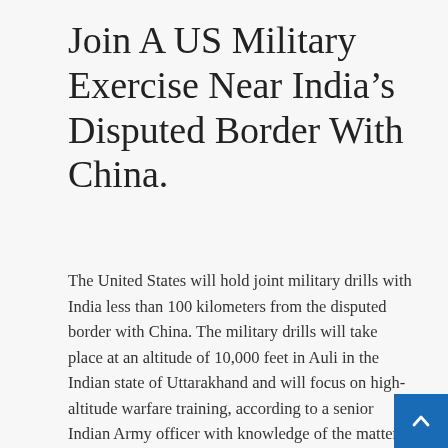Join A US Military Exercise Near India's Disputed Border With China.
The United States will hold joint military drills with India less than 100 kilometers from the disputed border with China. The military drills will take place at an altitude of 10,000 feet in Auli in the Indian state of Uttarakhand and will focus on high-altitude warfare training, according to a senior Indian Army officer with knowledge of the matter. Since a bloody clash between their soldiers in the Himalayas in June 2020 left at least 20 Indian troops and four Chinese soldiers dead, relations between India